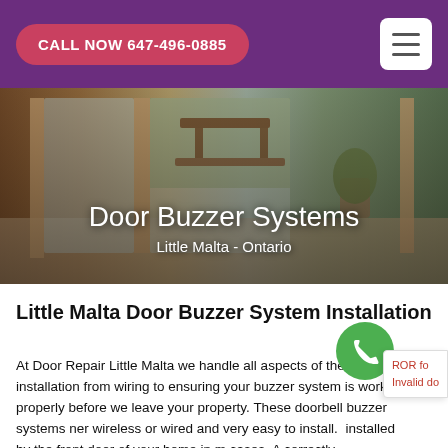CALL NOW 647-496-0885
[Figure (photo): Hero image of a modern interior entryway with glass sliding doors opening to an outdoor patio with wooden furniture and plants. Overlaid with title text 'Door Buzzer Systems' and subtitle 'Little Malta - Ontario'.]
Door Buzzer Systems
Little Malta - Ontario
Little Malta Door Buzzer System Installation
At Door Repair Little Malta we handle all aspects of the installation from wiring to ensuring your buzzer system is working properly before we leave your property. These doorbell buzzer systems ner wireless or wired and very easy to install. installed by the front door of your home in m cases. A correctly Functioning Intercom Or